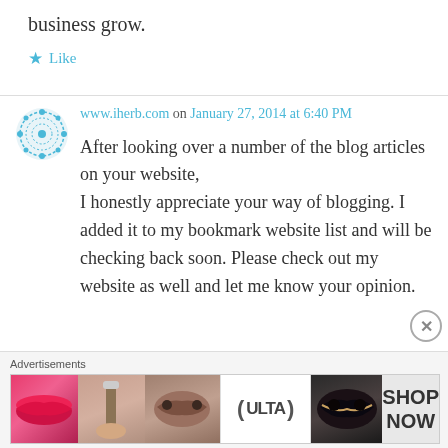business grow.
★ Like
www.iherb.com on January 27, 2014 at 6:40 PM
After looking over a number of the blog articles on your website, I honestly appreciate your way of blogging. I added it to my bookmark website list and will be checking back soon. Please check out my website as well and let me know your opinion.
Advertisements
[Figure (photo): ULTA beauty advertisement banner with makeup-themed images including lips, brush, eyes, ULTA logo, and SHOP NOW call to action]